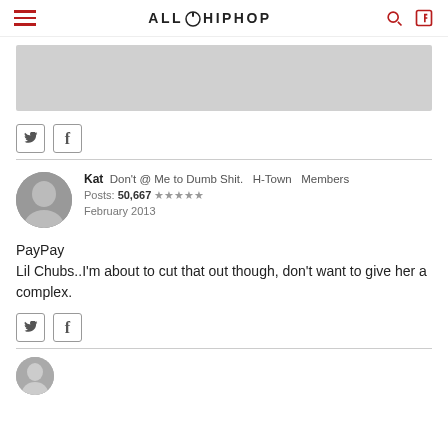AllHipHop
[Figure (other): Gray advertisement banner placeholder]
Twitter share button, Facebook share button
Kat  Don't @ Me to Dumb Shit.  H-Town  Members
Posts: 50,667  ★★★★★
February 2013
PayPay
Lil Chubs..I'm about to cut that out though, don't want to give her a complex.
Twitter share button, Facebook share button